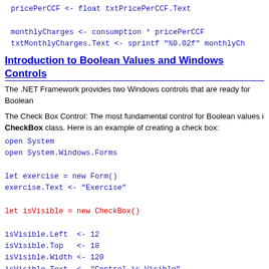pricePerCCF <- float txtPricePerCCF.Text

monthlyCharges <- consumption * pricePerCCF
txtMonthlyCharges.Text <- sprintf "%0.02f" monthlyCh
Introduction to Boolean Values and Windows Controls
The .NET Framework provides two Windows controls that are ready for Boolean
The Check Box Control: The most fundamental control for Boolean values i CheckBox class. Here is an example of creating a check box:
open System
open System.Windows.Forms

let exercise = new Form()
exercise.Text <- "Exercise"

let isVisible = new CheckBox()

isVisible.Left  <- 12
isVisible.Top   <- 18
isVisible.Width <- 120
isVisible.Text  <- "Control is Visible"

exercise.Controls.Add(isVisible)

Application.Run(exercise)
The CheckBox class is equipped with a property named Checked. If the